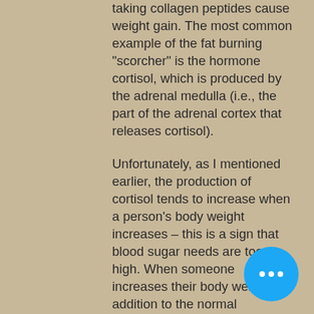taking collagen peptides cause weight gain. The most common example of the fat burning "scorcher" is the hormone cortisol, which is produced by the adrenal medulla (i.e., the part of the adrenal cortex that releases cortisol).
Unfortunately, as I mentioned earlier, the production of cortisol tends to increase when a person's body weight increases – this is a sign that blood sugar needs are too high. When someone increases their body weight, in addition to the normal "addiction" that can occur, a decrease in cortisol production results from the increased insulin sensitivity, which allows the body to burn fat more efficiently. In other words, as the fat burner becomes overweight, their body needs to burn more calories in order to survive on a given body weight, marine collagen peptides for weight loss.